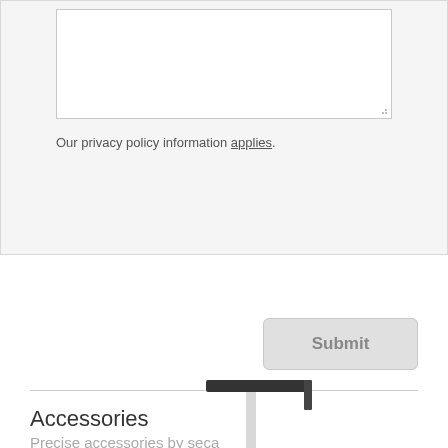Our privacy policy information applies.
Submit
Accessories
Precise accessories by seca
[Figure (photo): A medical stadiometer (height measuring device) with a vertical pole, black horizontal head plate at top, and a red indicator/lock at the bottom measuring arm.]